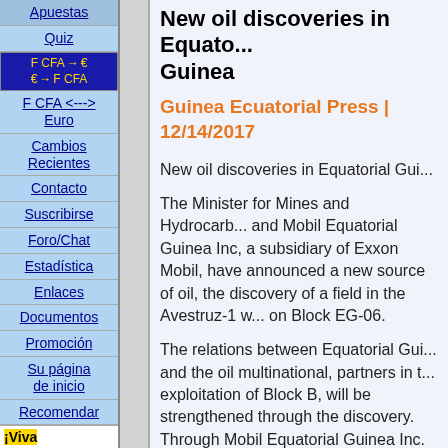Apuestas
Quiz
F CFA → € / € → F CFA
F CFA <---> Euro
Cambios Recientes
Contacto
Suscribirse
Foro/Chat
Estadística
Enlaces
Documentos
Promoción
Su página de inicio
Recomendar
¡Viva
New oil discoveries in Equatorial Guinea
Guinea Ecuatorial Press | 12/14/2017
New oil discoveries in Equatorial Gui...
The Minister for Mines and Hydrocarb... and Mobil Equatorial Guinea Inc, a subsidiary of Exxon Mobil, have announced a new source of oil, the discovery of a field in the Avestruz-1 w... on Block EG-06.
The relations between Equatorial Gui... and the oil multinational, partners in t... exploitation of Block B, will be strengthened through the discovery. Through Mobil Equatorial Guinea Inc. Exxon Mobil is working in the Zafiro fi...